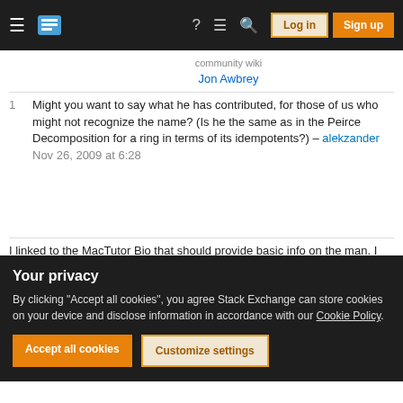Stack Exchange navigation bar with Log in and Sign up buttons
community wiki
Jon Awbrey
1 Might you want to say what he has contributed, for those of us who might not recognize the name? (Is he the same as in the Peirce Decomposition for a ring in terms of its idempotents?) – alekzander Nov 26, 2009 at 6:28
I linked to the MacTutor Bio that should provide basic info on the man. I haven't looked deeply enough into the history, but my first guess would be that Peirce Decomposition is due to Benjamin, his father, who is credited with coining the terms idempotent, nilpotent
Your privacy
By clicking "Accept all cookies", you agree Stack Exchange can store cookies on your device and disclose information in accordance with our Cookie Policy.
Accept all cookies | Customize settings